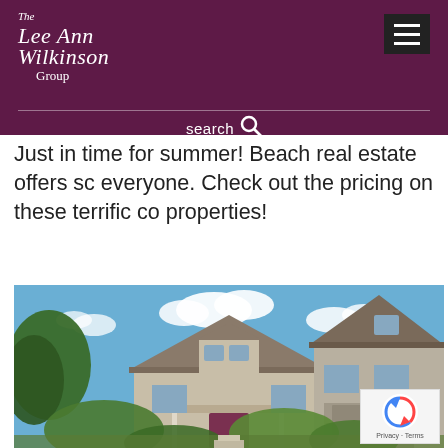The Lee Ann Wilkinson Group
search
Just in time for summer! Beach real estate offers so everyone. Check out the pricing on these terrific co properties!
[Figure (photo): Exterior photo of large craftsman-style residential homes with blue sky and green trees in foreground]